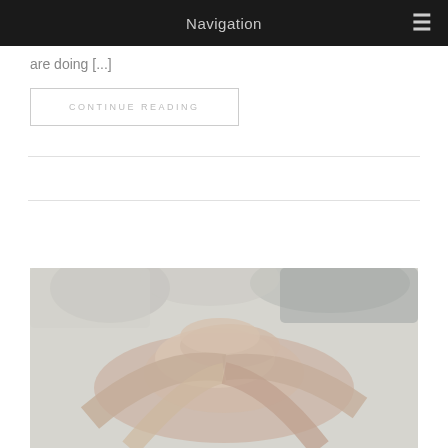Navigation ≡
are doing [...]
CONTINUE READING
[Figure (photo): Group of people stacking hands together in a team gesture, shot from above, with a desaturated/muted tone]